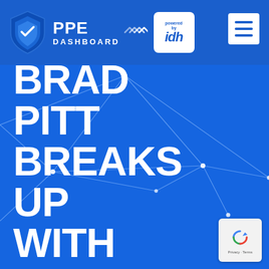[Figure (logo): PPE Dashboard logo with shield icon and 'powered by idh' badge, plus hamburger menu button on right, on blue header bar]
[Figure (screenshot): Blue background webpage section with geometric network polygon lines overlay, containing large white bold uppercase text 'BRAD PITT BREAKS UP WITH' and a reCAPTCHA badge in the bottom right corner]